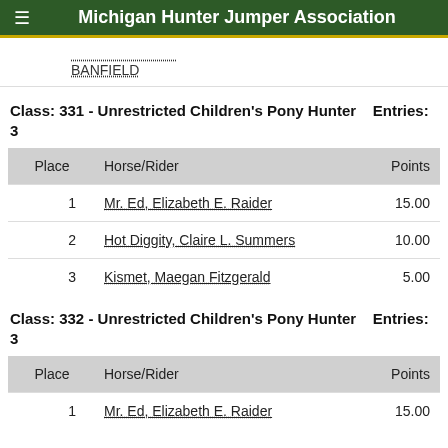Michigan Hunter Jumper Association
BANFIELD
Class: 331 - Unrestricted Children's Pony Hunter   Entries: 3
| Place | Horse/Rider | Points |
| --- | --- | --- |
| 1 | Mr. Ed, Elizabeth E. Raider | 15.00 |
| 2 | Hot Diggity, Claire L. Summers | 10.00 |
| 3 | Kismet, Maegan Fitzgerald | 5.00 |
Class: 332 - Unrestricted Children's Pony Hunter   Entries: 3
| Place | Horse/Rider | Points |
| --- | --- | --- |
| 1 | Mr. Ed, Elizabeth E. Raider | 15.00 |